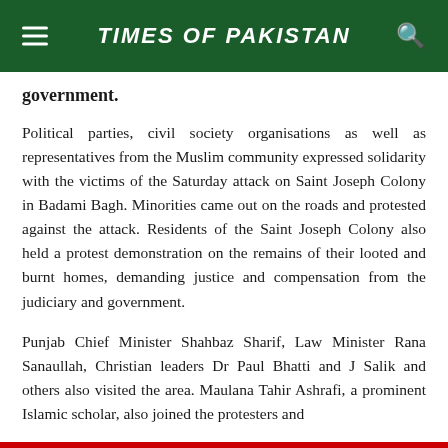TIMES OF PAKISTAN
government.
Political parties, civil society organisations as well as representatives from the Muslim community expressed solidarity with the victims of the Saturday attack on Saint Joseph Colony in Badami Bagh. Minorities came out on the roads and protested against the attack. Residents of the Saint Joseph Colony also held a protest demonstration on the remains of their looted and burnt homes, demanding justice and compensation from the judiciary and government.
Punjab Chief Minister Shahbaz Sharif, Law Minister Rana Sanaullah, Christian leaders Dr Paul Bhatti and J Salik and others also visited the area. Maulana Tahir Ashrafi, a prominent Islamic scholar, also joined the protesters and